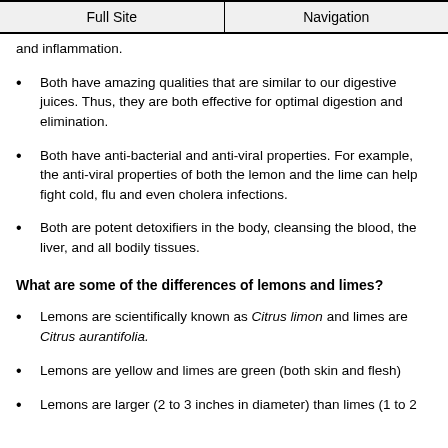Full Site | Navigation
and inflammation.
Both have amazing qualities that are similar to our digestive juices. Thus, they are both effective for optimal digestion and elimination.
Both have anti-bacterial and anti-viral properties. For example, the anti-viral properties of both the lemon and the lime can help fight cold, flu and even cholera infections.
Both are potent detoxifiers in the body, cleansing the blood, the liver, and all bodily tissues.
What are some of the differences of lemons and limes?
Lemons are scientifically known as Citrus limon and limes are Citrus aurantifolia.
Lemons are yellow and limes are green (both skin and flesh)
Lemons are larger (2 to 3 inches in diameter) than limes (1 to 2